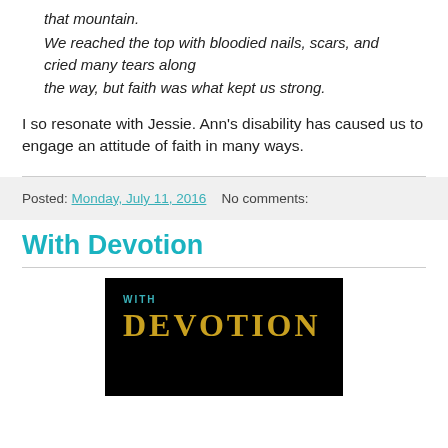that mountain.
We reached the top with bloodied nails, scars, and cried many tears along
the way, but faith was what kept us strong.
I so resonate with Jessie. Ann's disability has caused us to engage an attitude of faith in many ways.
Posted: Monday, July 11, 2016    No comments:
With Devotion
[Figure (illustration): Black background image with 'WITH' in small teal uppercase text and 'DeVOTION' in large gold/yellow serif letters below it]